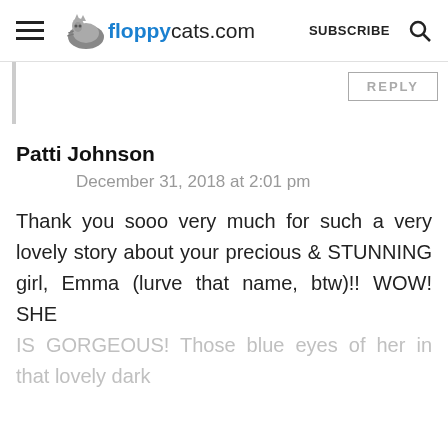floppycats.com  SUBSCRIBE
REPLY
Patti Johnson
December 31, 2018 at 2:01 pm
Thank you sooo very much for such a very lovely story about your precious & STUNNING girl, Emma (lurve that name, btw)!! WOW! SHE IS GORGEOUS! Those blue eyes of her in that lovely dark